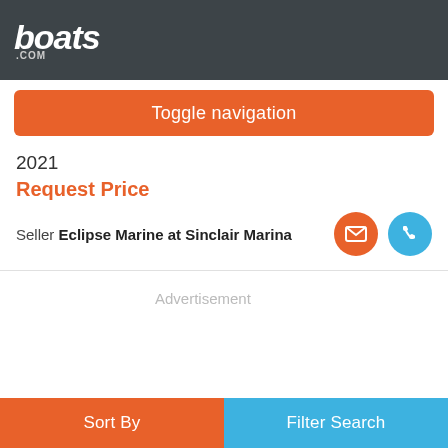boats.com
Toggle navigation
2021
Request Price
Seller Eclipse Marine at Sinclair Marina
[Figure (other): Advertisement placeholder - grey rectangle]
Sort By
Filter Search